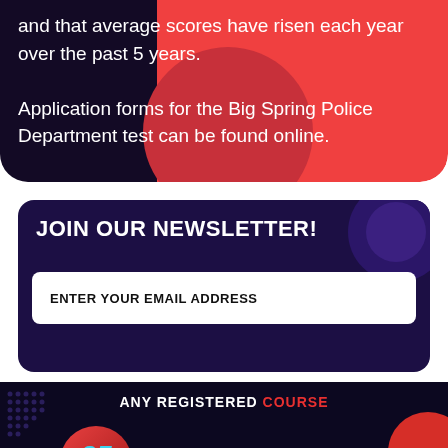and that average scores have risen each year over the past 5 years.

Application forms for the Big Spring Police Department test can be found online.
JOIN OUR NEWSLETTER!
ENTER YOUR EMAIL ADDRESS
ANY REGISTERED COURSE
25% off LIMITED TIME PROMOTION THROUGH AUGUST 13–20
Promotional Code: POLICE25